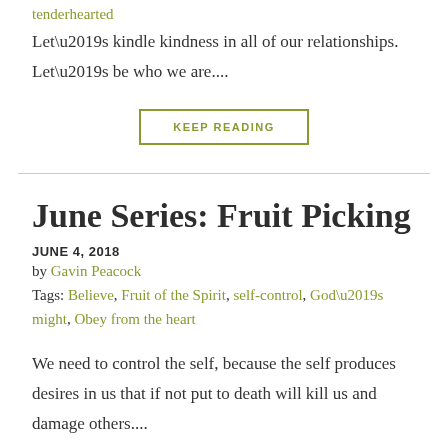tenderhearted
Let’s kindle kindness in all of our relationships. Let’s be who we are....
KEEP READING
June Series: Fruit Picking
JUNE 4, 2018
by Gavin Peacock
Tags: Believe, Fruit of the Spirit, self-control, God’s might, Obey from the heart
We need to control the self, because the self produces desires in us that if not put to death will kill us and damage others....